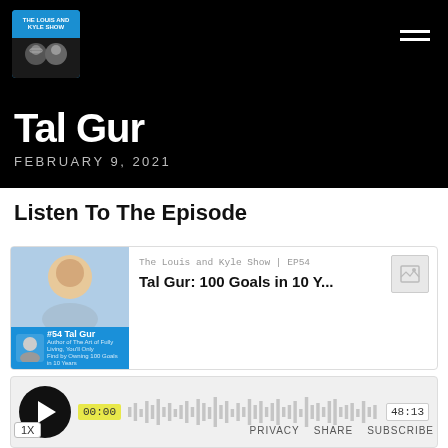The Louis and Kyle Show
Tal Gur
FEBRUARY 9, 2021
Listen To The Episode
[Figure (other): Podcast episode card for The Louis and Kyle Show EP54 featuring Tal Gur: 100 Goals in 10 Y...]
[Figure (other): Audio player showing 00:00 current time and 48:13 total duration with play button, waveform, speed control 1X, and PRIVACY SHARE SUBSCRIBE links]